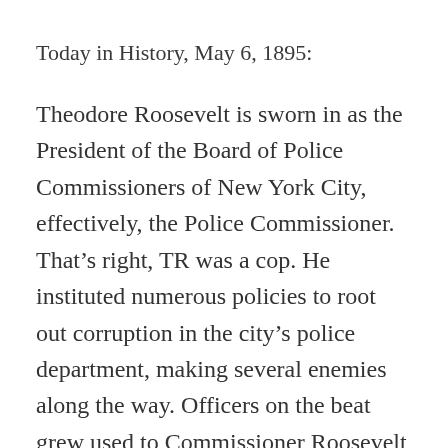Today in History, May 6, 1895:
Theodore Roosevelt is sworn in as the President of the Board of Police Commissioners of New York City, effectively, the Police Commissioner. That's right, TR was a cop. He instituted numerous policies to root out corruption in the city's police department, making several enemies along the way. Officers on the beat grew used to Commissioner Roosevelt showing up at all hours of the day and night. The corrupt officers hated him; the honest officers loved him. He was tireless and relentless, a trait his family